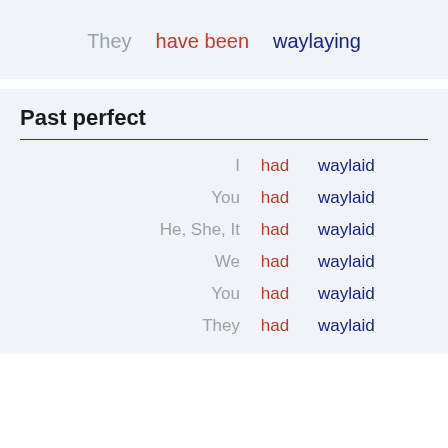They have been waylaying
Past perfect
I had waylaid
You had waylaid
He, She, It had waylaid
We had waylaid
You had waylaid
They had waylaid